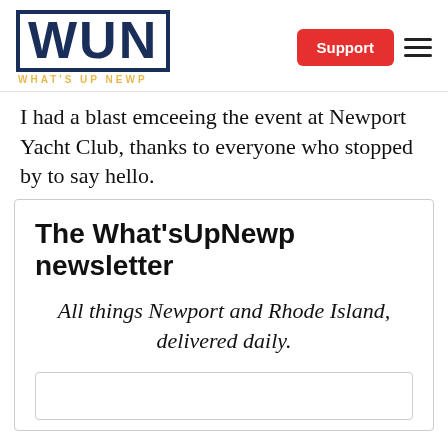WUN — WHAT'S UP NEWP | Support | Menu
I had a blast emceeing the event at Newport Yacht Club, thanks to everyone who stopped by to say hello.
The What'sUpNewp newsletter
All things Newport and Rhode Island, delivered daily.